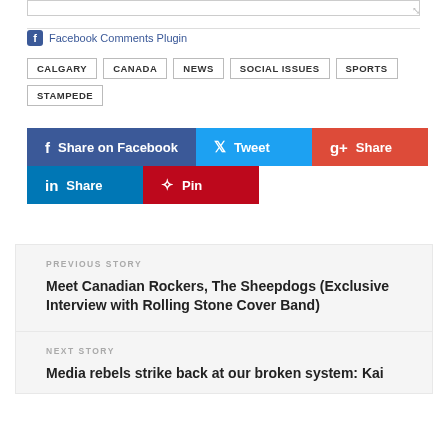Facebook Comments Plugin
CALGARY
CANADA
NEWS
SOCIAL ISSUES
SPORTS
STAMPEDE
Share on Facebook
Tweet
Share
Share
Pin
PREVIOUS STORY
Meet Canadian Rockers, The Sheepdogs (Exclusive Interview with Rolling Stone Cover Band)
NEXT STORY
Media rebels strike back at our broken system: Kai